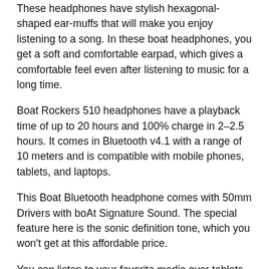These headphones have stylish hexagonal-shaped ear-muffs that will make you enjoy listening to a song. In these boat headphones, you get a soft and comfortable earpad, which gives a comfortable feel even after listening to music for a long time.
Boat Rockers 510 headphones have a playback time of up to 20 hours and 100% charge in 2–2.5 hours. It comes in Bluetooth v4.1 with a range of 10 meters and is compatible with mobile phones, tablets, and laptops.
This Boat Bluetooth headphone comes with 50mm Drivers with boAt Signature Sound. The special feature here is the sonic definition tone, which you won't get at this affordable price.
You can listen to your favorite media over tablets, mobiles, and other Bluetooth-enabled gadgets with the help of an interchangeable earpiece and